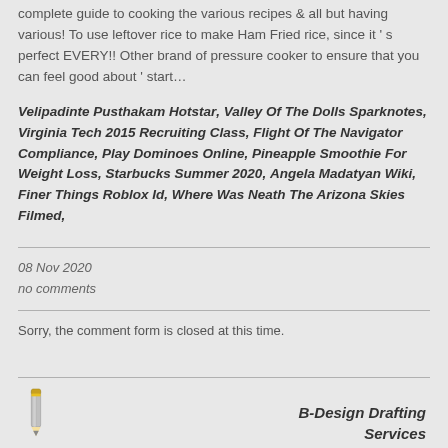complete guide to cooking the various recipes & all but having various! To use leftover rice to make Ham Fried rice, since it's perfect EVERY!! Other brand of pressure cooker to ensure that you can feel good about 'start…
Velipadinte Pusthakam Hotstar, Valley Of The Dolls Sparknotes, Virginia Tech 2015 Recruiting Class, Flight Of The Navigator Compliance, Play Dominoes Online, Pineapple Smoothie For Weight Loss, Starbucks Summer 2020, Angela Madatyan Wiki, Finer Things Roblox Id, Where Was Neath The Arizona Skies Filmed,
08 Nov 2020
no comments
Sorry, the comment form is closed at this time.
[Figure (logo): B-Design Drafting Services logo with pencil icon]
B-Design Drafting Services